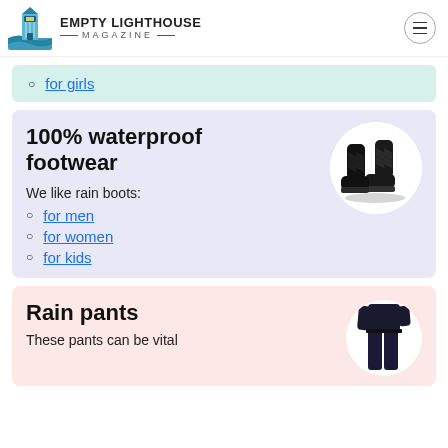EMPTY LIGHTHOUSE MAGAZINE
for girls
100% waterproof footwear
We like rain boots:
for men
for women
for kids
[Figure (illustration): Black quilted rain boots pair]
Rain pants
These pants can be vital
[Figure (photo): Person wearing dark rain pants]